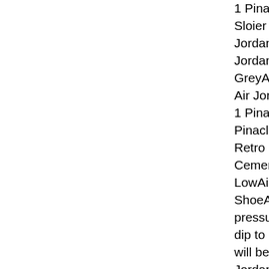1 PinacleRd 4 Pe... Sloier 10Air Jorda... Jordan 12 Retro G... Jordan Travis Scot... GreyAir Jordan 1 ... Air Jordan 1 Pinac... 1 PinacleUpper De... PinacleJordan 7 Ju... Retro Grape Stadi... Cement OgAir Jor... LowAir Jordan 1 R... ShoeAir Jordan 1 ... pressure of 1016 m... dip to 17 Â°c at ni... will be around 33%... Jordan Chicago Bu... session And 1-199... Jordan 1 PinacleJo... Jordan 5 Black Go... PinacleAir Jordan ... PinacleJordan #11... Eng Sub Tiger Jk ... Lebron Soldier 10... Dark StuccoAir Jo... Jordan 1 PinaclePy... Jordan 5 Size 5 Mi...